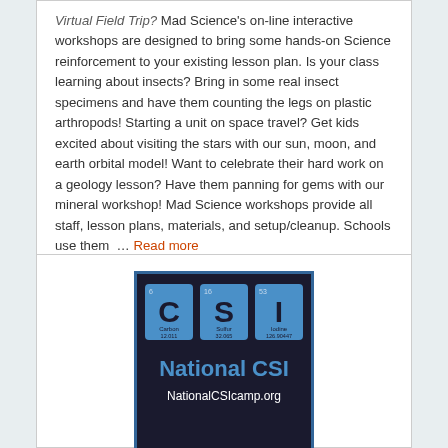Virtual Field Trip? Mad Science's on-line interactive workshops are designed to bring some hands-on Science reinforcement to your existing lesson plan. Is your class learning about insects? Bring in some real insect specimens and have them counting the legs on plastic arthropods! Starting a unit on space travel? Get kids excited about visiting the stars with our sun, moon, and earth orbital model! Want to celebrate their hard work on a geology lesson? Have them panning for gems with our mineral workshop! Mad Science workshops provide all staff, lesson plans, materials, and setup/cleanup. Schools use them … Read more
[Figure (logo): National CSI Camp logo showing periodic table element tiles for C (Carbon 12.011), S (Sulfur 32.065), I (Iodine 126.90447) on a dark background with text 'National CSI' and 'NationalCSIcamp.org']
National CSI Camp - VIRTUAL Classes
Virtual